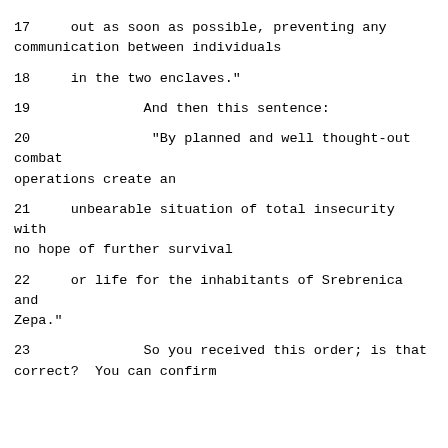17     out as soon as possible, preventing any communication between individuals
18     in the two enclaves."
19              And then this sentence:
20               "By planned and well thought-out combat operations create an
21     unbearable situation of total insecurity with no hope of further survival
22     or life for the inhabitants of Srebrenica and Zepa."
23              So you received this order; is that correct?  You can confirm